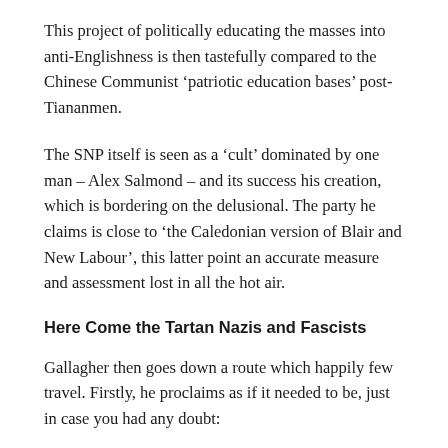This project of politically educating the masses into anti-Englishness is then tastefully compared to the Chinese Communist ‘patriotic education bases’ post-Tiananmen.
The SNP itself is seen as a ‘cult’ dominated by one man – Alex Salmond – and its success his creation, which is bordering on the delusional. The party he claims is close to ‘the Caledonian version of Blair and New Labour’, this latter point an accurate measure and assessment lost in all the hot air.
Here Come the Tartan Nazis and Fascists
Gallagher then goes down a route which happily few travel. Firstly, he proclaims as if it needed to be, just in case you had any doubt: